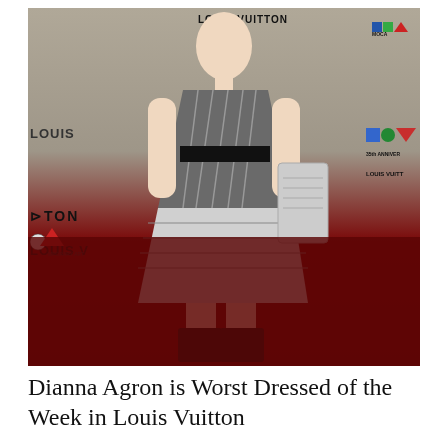[Figure (photo): Dianna Agron standing on a red carpet in front of a Louis Vuitton and MOCA 35th Anniversary step-and-repeat backdrop, wearing a grey pinstripe dress with silver/white pattern panels, a black belt, black ankle boots, and carrying a silver clutch.]
Dianna Agron is Worst Dressed of the Week in Louis Vuitton